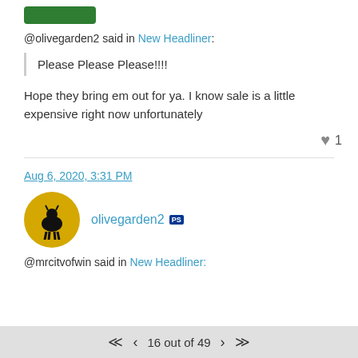[Figure (other): Green button at top left]
@olivegarden2 said in New Headliner:
Please Please Please!!!!
Hope they bring em out for ya. I know sale is a little expensive right now unfortunately
♥ 1
Aug 6, 2020, 3:31 PM
[Figure (photo): User avatar: gold circle with black goat silhouette]
olivegarden2 [PS icon]
@mrcitvofwin said in New Headliner:
16 out of 49